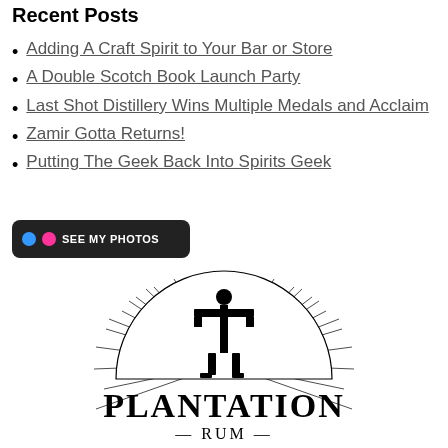Recent Posts
Adding A Craft Spirit to Your Bar or Store
A Double Scotch Book Launch Party
Last Shot Distillery Wins Multiple Medals and Acclaim
Zamir Gotta Returns!
Putting The Geek Back Into Spirits Geek
[Figure (screenshot): Black button with Flickr-style blue and pink dots and text SEE MY PHOTOS]
[Figure (logo): Plantation Rum logo: stylized figure/totem icon with radiating lines above a semicircle, with PLANTATION in large serif text and — RUM — below]